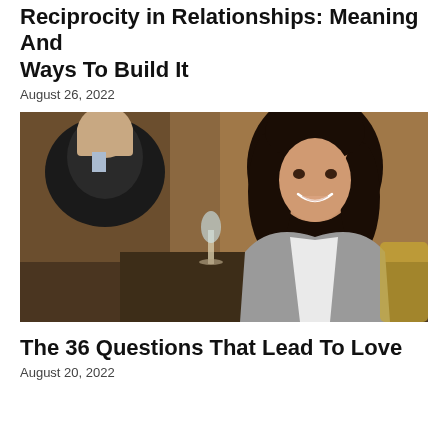Reciprocity in Relationships: Meaning And Ways To Build It
August 26, 2022
[Figure (photo): A man and woman sitting across from each other at a restaurant table. The woman has long dark hair, is smiling broadly, and wearing a grey blazer over a white top. A champagne flute is on the table. The man is seen from behind wearing a dark suit jacket.]
The 36 Questions That Lead To Love
August 20, 2022